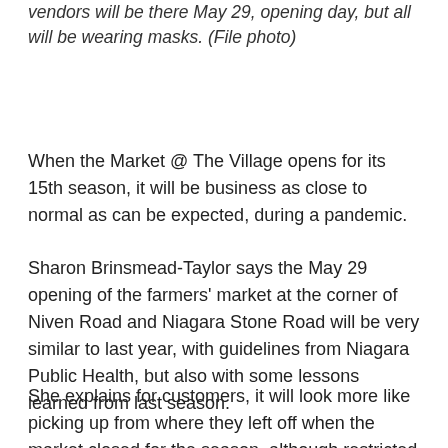vendors will be there May 29, opening day, but all will be wearing masks. (File photo)
When the Market @ The Village opens for its 15th season, it will be business as close to normal as can be expected, during a pandemic.
Sharon Brinsmead-Taylor says the May 29 opening of the farmers' market at the corner of Niven Road and Niagara Stone Road will be very similar to last year, with guidelines from Niagara Public Health, but also with some lessons learned from last season.
She explains for customers, it will look more like picking up from where they left off when the market closed for the season, although restricted at this point to 17 growers who have signed up to sell food or plants, which